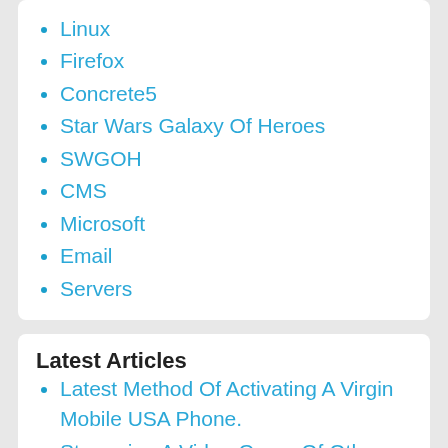Linux
Firefox
Concrete5
Star Wars Galaxy Of Heroes
SWGOH
CMS
Microsoft
Email
Servers
Latest Articles
Latest Method Of Activating A Virgin Mobile USA Phone.
Streaming A Video Game Of Others Is Illegal Without Permission.
Fix For Getting Browser Insecure Mix-Content Warning Message Due To Donate Elite Joomla Module